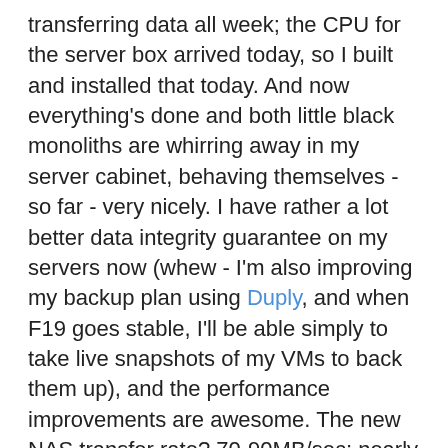transferring data all week; the CPU for the server box arrived today, so I built and installed that today. And now everything's done and both little black monoliths are whirring away in my server cabinet, behaving themselves - so far - very nicely. I have rather a lot better data integrity guarantee on my servers now (whew - I'm also improving my backup plan using Duply, and when F19 goes stable, I'll be able simply to take live snapshots of my VMs to back them up), and the performance improvements are awesome. The new NAS transfer rate? 70-90MB/sec; nearly 10x faster than the old one. That's the kind of bump I like! I have it set up as a 6TB RAID-6 array (like RAID-5, but with two drives' worth of parity data, so it can survive the loss of any two drives). I'll use the old NAS' disks as spares. Its NFS server seems reliable, it's better at handling non-ASCII characters even across various client OSes and protocols than the DNS-323 - □□□□□□□□□□□□ renders as □□□□□□□□□□□□ on my Linux box with the share mounted via NFSv4, and on a Windows box with the share